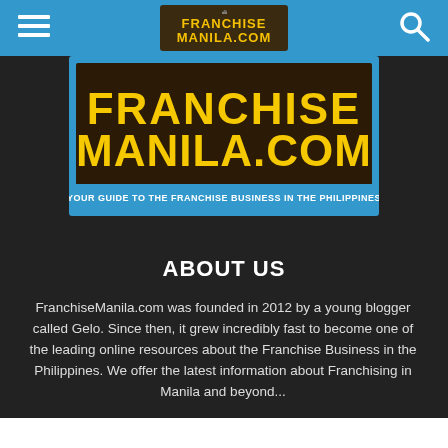FranchiseManila.com — navigation bar with hamburger menu and search icon
[Figure (logo): FranchiseManila.com logo — large yellow text 'FRANCHISE MANILA.COM' on dark brown/maroon background with blue border and tagline 'YOUR GUIDE TO THE FRANCHISE BUSINESS IN THE PHILIPPINES']
ABOUT US
FranchiseManila.com was founded in 2012 by a young blogger called Gelo. Since then, it grew incredibly fast to become one of the leading online resources about the Franchise Business in the Philippines. We offer the latest information about Franchising in Manila and beyond...